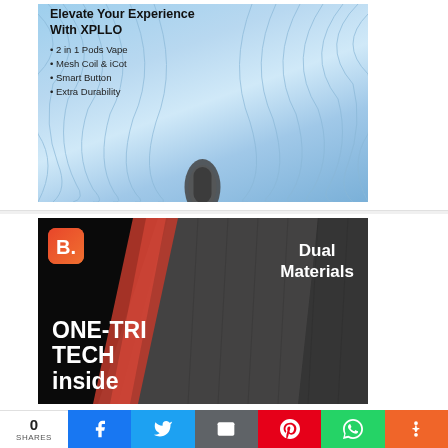[Figure (illustration): XPLLO product advertisement with blue wave background. Text reads: Elevate Your Experience With XPLLO. Bullet points: 2 in 1 Pods Vape, Mesh Coil & iCot, Smart Button, Extra Durability. Device silhouette at bottom.]
[Figure (illustration): Bymov brand product advertisement on dark/black background showing a close-up of a textured surface with red diagonal accent. Orange-red brand logo top-left. Text: ONE-TRI TECH inside (large white bold, bottom-left). Dual Materials (white bold, right side).]
0 SHARES | Facebook | Twitter | Email | Pinterest | WhatsApp | More